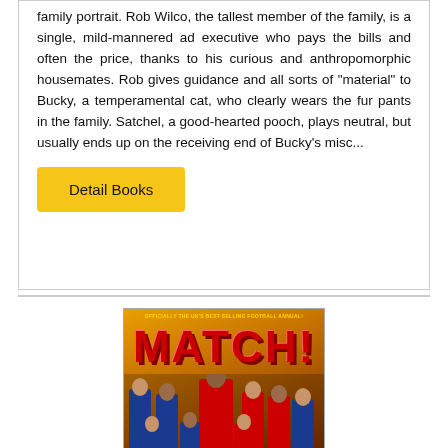family portrait. Rob Wilco, the tallest member of the family, is a single, mild-mannered ad executive who pays the bills and often the price, thanks to his curious and anthropomorphic housemates. Rob gives guidance and all sorts of "material" to Bucky, a temperamental cat, who clearly wears the fur pants in the family. Satchel, a good-hearted pooch, plays neutral, but usually ends up on the receiving end of Bucky's misc...
Detail Books
[Figure (photo): Book cover of MATCH! football annual — officially the UK's best-selling football annual. Large red MATCH! title text on orange/yellow background with football players in team kits.]